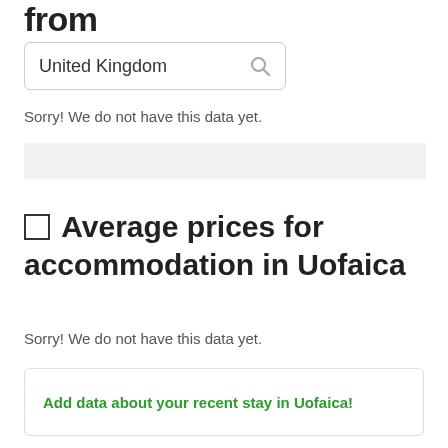from
[Figure (screenshot): Search input field showing 'United Kingdom' with a search magnifier icon on the right]
Sorry! We do not have this data yet.
[Figure (other): Gray placeholder bar]
☐ Average prices for accommodation in Uofaica
Sorry! We do not have this data yet.
Add data about your recent stay in Uofaica!